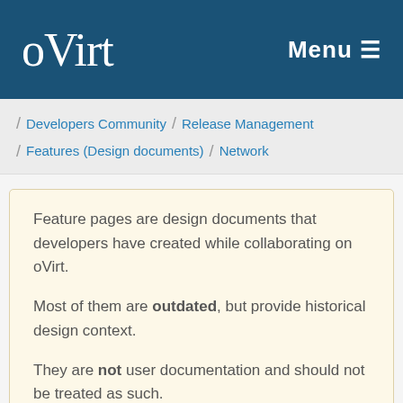oVirt   Menu
/ Developers Community / Release Management / Features (Design documents) / Network
Feature pages are design documents that developers have created while collaborating on oVirt.

Most of them are outdated, but provide historical design context.

They are not user documentation and should not be treated as such.

Documentation is available here.